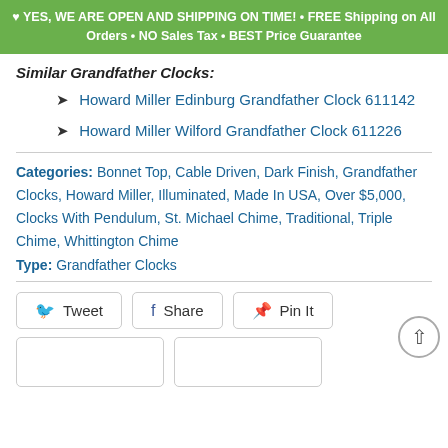♥ YES, WE ARE OPEN AND SHIPPING ON TIME! • FREE Shipping on All Orders • NO Sales Tax • BEST Price Guarantee
Similar Grandfather Clocks:
Howard Miller Edinburg Grandfather Clock 611142
Howard Miller Wilford Grandfather Clock 611226
Categories: Bonnet Top, Cable Driven, Dark Finish, Grandfather Clocks, Howard Miller, Illuminated, Made In USA, Over $5,000, Clocks With Pendulum, St. Michael Chime, Traditional, Triple Chime, Whittington Chime
Type: Grandfather Clocks